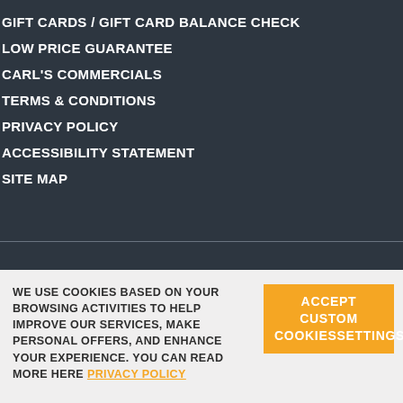GIFT CARDS / GIFT CARD BALANCE CHECK
LOW PRICE GUARANTEE
CARL'S COMMERCIALS
TERMS & CONDITIONS
PRIVACY POLICY
ACCESSIBILITY STATEMENT
SITE MAP
WE USE COOKIES BASED ON YOUR BROWSING ACTIVITIES TO HELP IMPROVE OUR SERVICES, MAKE PERSONAL OFFERS, AND ENHANCE YOUR EXPERIENCE. YOU CAN READ MORE HERE PRIVACY POLICY
ACCEPT CUSTOM COOKIESSETTINGS